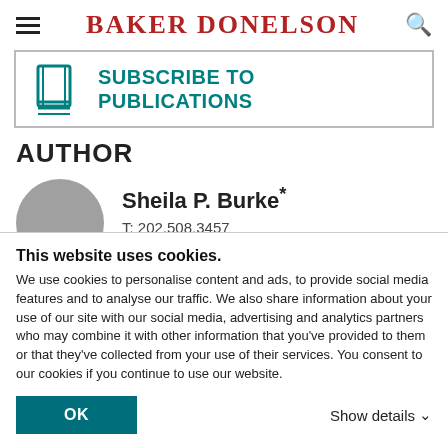BAKER DONELSON
[Figure (screenshot): Subscribe to Publications banner with book icon and teal text]
AUTHOR
[Figure (photo): Circular gray placeholder avatar photo of Sheila P. Burke]
Sheila P. Burke*
T: 202.508.3457
Email Professional
This website uses cookies.
We use cookies to personalise content and ads, to provide social media features and to analyse our traffic. We also share information about your use of our site with our social media, advertising and analytics partners who may combine it with other information that you've provided to them or that they've collected from your use of their services. You consent to our cookies if you continue to use our website.